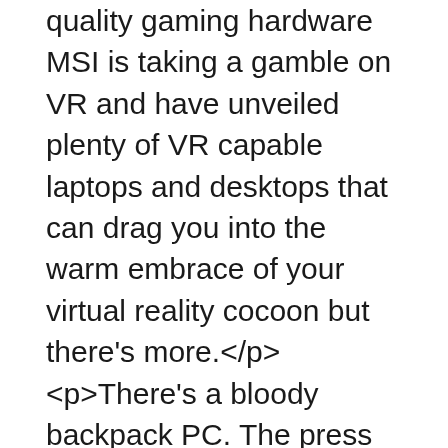quality gaming hardware MSI is taking a gamble on VR and have unveiled plenty of VR capable laptops and desktops that can drag you into the warm embrace of your virtual reality cocoon but there's more.</p><p>There's a bloody backpack PC. The press release claims you'll be able to enjoy virtual reality without limits, but it doesn't have any solar panels, so I can think of at least one bit limitation.</p><p>Anyway, it's got some solid power going on under the hood. It's powered by Intel extreme Core i7 processors and a GTX980 graphics card. It's got enough grunt to be VR ready, although those of you looking to stream at the same time might have trouble.</p><p>Again, according to the press release: "MSI Backpack PC enables gamers to